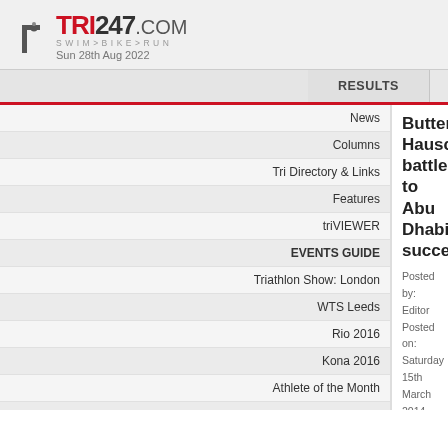TRI247.COM SWIM>BIKE>RUN — Sun 28th Aug 2022
RESULTS
TRAINING
News
Columns
Tri Directory & Links
Features
triVIEWER
EVENTS GUIDE
Triathlon Show: London
WTS Leeds
Rio 2016
Kona 2016
Athlete of the Month
Interviews
Galleries
Butterfield, Hauschildt battle to Abu Dhabi success
Posted by: Editor
Posted on: Saturday 15th March 2014
TAGS  Abu Dhabi | Abu Dhabi International Triathlon | ADIT | Melissa Hauschildt | Tyler Butterfield
Bookmark This | Print This Page | Send To A Friend | Po... Comment
There was to be no third victory for Ironman World Champio... Frederik van Lierde today at the fifth Abu Dhabi Internatio... years ago by taking the title, moving up from his breakthrou...
Australia's Ironman 70.3 World Champion Melissa Hauschi... caught her on the run - to cross the line and defend her title...